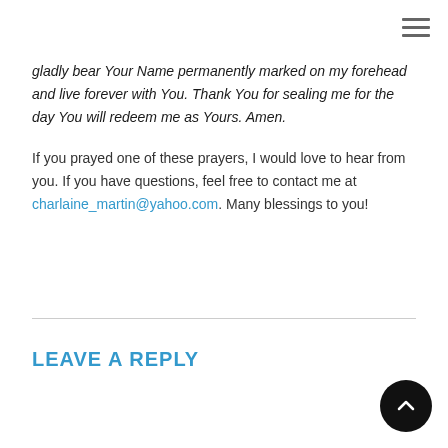≡
gladly bear Your Name permanently marked on my forehead and live forever with You. Thank You for sealing me for the day You will redeem me as Yours. Amen.
If you prayed one of these prayers, I would love to hear from you. If you have questions, feel free to contact me at charlaine_martin@yahoo.com. Many blessings to you!
LEAVE A REPLY